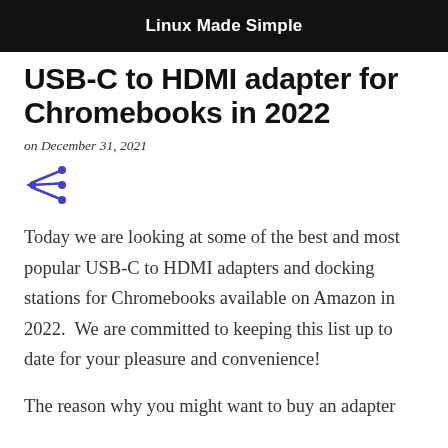Linux Made Simple
USB-C to HDMI adapter for Chromebooks in 2022
on December 31, 2021
[Figure (other): Share icon (arrow pointing left with three dots)]
Today we are looking at some of the best and most popular USB-C to HDMI adapters and docking stations for Chromebooks available on Amazon in 2022.  We are committed to keeping this list up to date for your pleasure and convenience!
The reason why you might want to buy an adapter